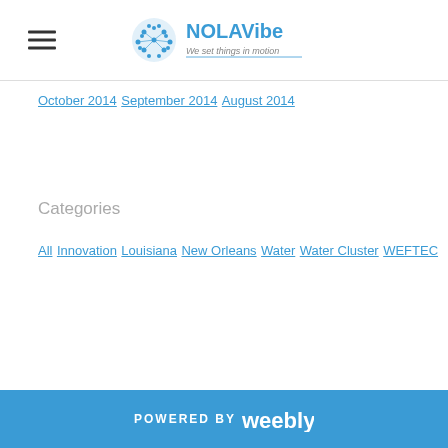NOLAVibe - We set things in motion
October 2014
September 2014
August 2014
Categories
All
Innovation
Louisiana
New Orleans
Water
Water Cluster
WEFTEC
POWERED BY weebly